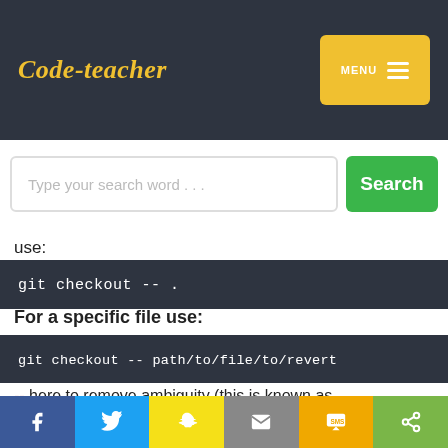Code-teacher
[Figure (screenshot): Search bar with placeholder 'Type your search word...' and green Search button]
use:
git checkout -- .
For a specific file use:
git checkout -- path/to/file/to/revert
-- here to remove ambiguity (this is known as argument disambiguation).
Social share bar: Facebook, Twitter, Snapchat, Email, SMS, Share